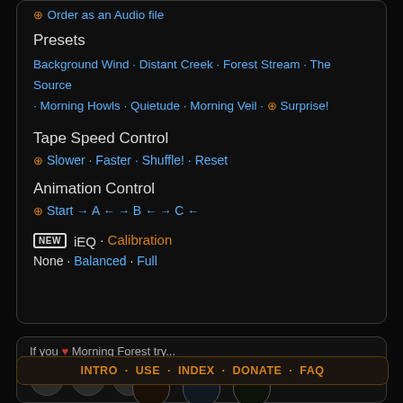⊕ Order as an Audio file
Presets
Background Wind · Distant Creek · Forest Stream · The Source · Morning Howls · Quietude · Morning Veil · ⊕ Surprise!
Tape Speed Control
⊕ Slower · Faster · Shuffle! · Reset
Animation Control
⊕ Start → A ← → B ← → C ←
NEW  iEQ · Calibration
None · Balanced · Full
If you ♥ Morning Forest try...
INTRO · USE · INDEX · DONATE · FAQ